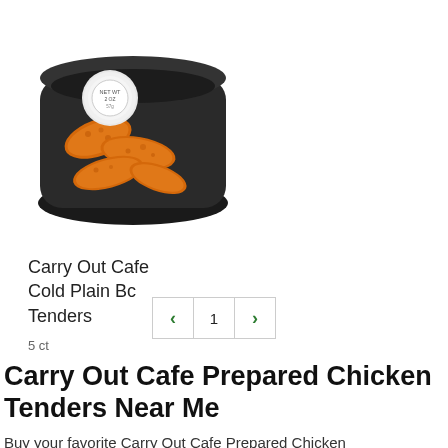[Figure (photo): Carry Out Cafe Cold Plain Bc Tenders in a black tray with a dipping sauce container on top]
Carry Out Cafe Cold Plain Bc Tenders
5 ct
< 1 >
Carry Out Cafe Prepared Chicken Tenders Near Me
Buy your favorite Carry Out Cafe Prepared Chicken